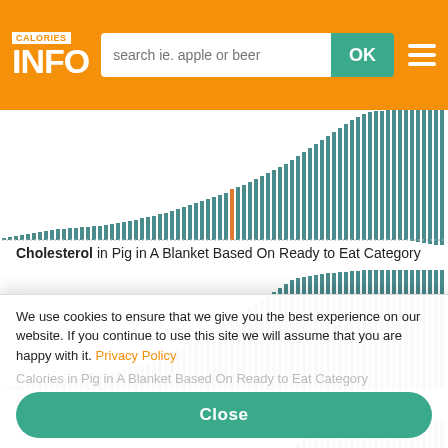CALORIES INFO - search ie. apple or beer - OK
[Figure (bar-chart): Ascending bar chart showing cholesterol values across items in the Ready to Eat category, with one highlighted bar in orange]
Cholesterol in Pig in A Blanket Based On Ready to Eat Category
[Figure (bar-chart): Ascending bar chart showing carbohydrates values across items in the Ready to Eat category]
Carbohydrates in Pig in A Blanket Based On Ready to Eat Category
[Figure (bar-chart): Partial ascending bar chart showing calories values, partially obscured by cookie banner]
We use cookies to ensure that we give you the best experience on our website. If you continue to use this site we will assume that you are happy with it. Privacy Policy
Close